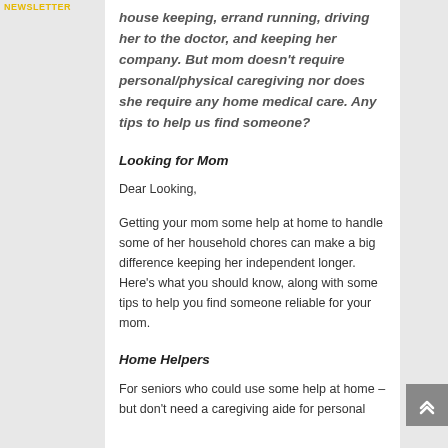house keeping, errand running, driving her to the doctor, and keeping her company. But mom doesn't require personal/physical caregiving nor does she require any home medical care. Any tips to help us find someone?
Looking for Mom
Dear Looking,
Getting your mom some help at home to handle some of her household chores can make a big difference keeping her independent longer. Here's what you should know, along with some tips to help you find someone reliable for your mom.
Home Helpers
For seniors who could use some help at home – but don't need a caregiving aide for personal